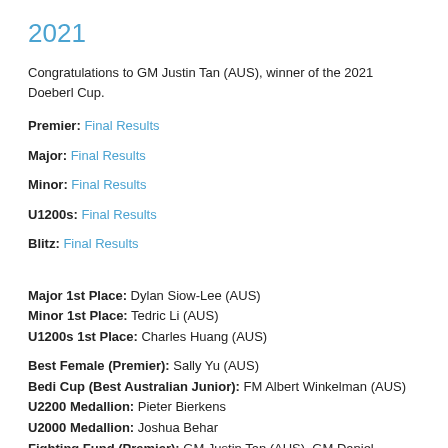2021
Congratulations to GM Justin Tan (AUS), winner of the 2021 Doeberl Cup.
Premier: Final Results
Major: Final Results
Minor: Final Results
U1200s: Final Results
Blitz: Final Results
Major 1st Place: Dylan Siow-Lee (AUS)
Minor 1st Place: Tedric Li (AUS)
U1200s 1st Place: Charles Huang (AUS)
Best Female (Premier): Sally Yu (AUS)
Bedi Cup (Best Australian Junior): FM Albert Winkelman (AUS)
U2200 Medallion: Pieter Bierkens
U2000 Medallion: Joshua Behar
Fighting Fund (Premier): GM Justin Tan (AUS), GM Daniel Fernandez (ENG),